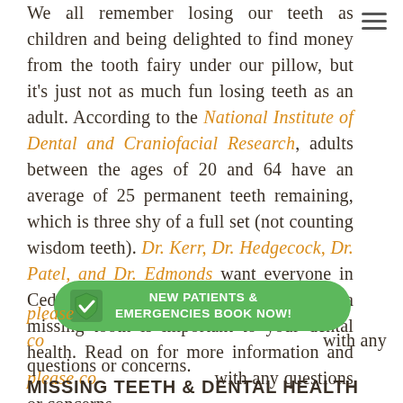We all remember losing our teeth as children and being delighted to find money from the tooth fairy under our pillow, but it's just not as much fun losing teeth as an adult. According to the National Institute of Dental and Craniofacial Research, adults between the ages of 20 and 64 have an average of 25 permanent teeth remaining, which is three shy of a full set (not counting wisdom teeth). Dr. Kerr, Dr. Hedgecock, Dr. Patel, and Dr. Edmonds want everyone in Cedar Park to know that replacing a missing tooth is important to your dental health. Read on for more information and please contact our office with any questions or concerns.
[Figure (infographic): Green rounded rectangle CTA button with a checkmark shield icon on the left and white bold text reading 'NEW PATIENTS & EMERGENCIES BOOK NOW!']
MISSING TEETH & DENTAL HEALTH